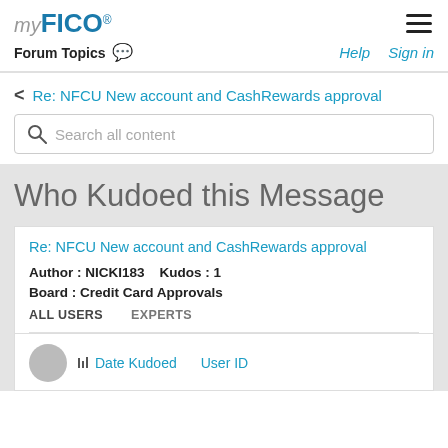myFICO Forum Topics  Help  Sign in
< Re: NFCU New account and CashRewards approval
Search all content
Who Kudoed this Message
Re: NFCU New account and CashRewards approval
Author : NICKI183    Kudos : 1
Board : Credit Card Approvals
ALL USERS    EXPERTS
Date Kudoed    User ID